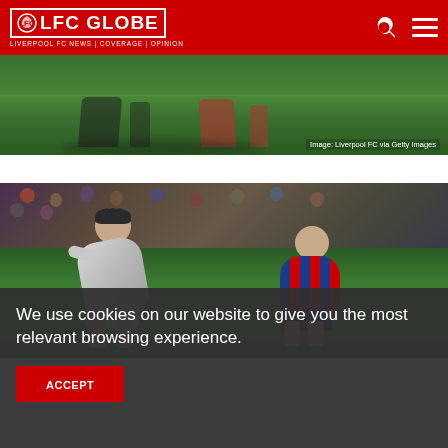LFC GLOBE — LIVERPOOL FC NEWS | COVERAGE | OPINION
[Figure (photo): Football pitch photo showing players' legs on green grass. Caption: Image: Liverpool FC via Getty Images]
[Figure (photo): Two football players in action — one in white kit, one in Barcelona blue/red striped kit — during a match, with crowd in background]
We use cookies on our website to give you the most relevant browsing experience.